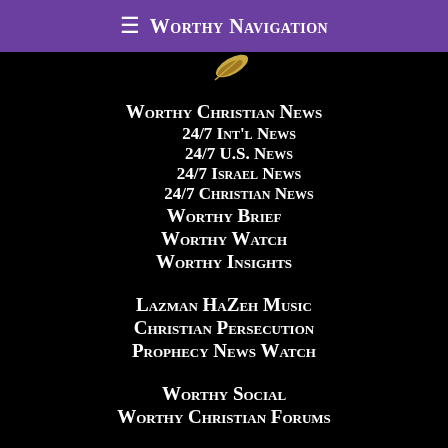≡ Worthy Navigation
Worthy Christian News
24/7 Int'l News
24/7 U.S. News
24/7 Israel News
24/7 Christian News
Worthy Brief
Worthy Watch
Worthy Insights
Lazman HaZeh Music
Christian Persecution
Prophecy News Watch
Worthy Social
Worthy Christian Forums